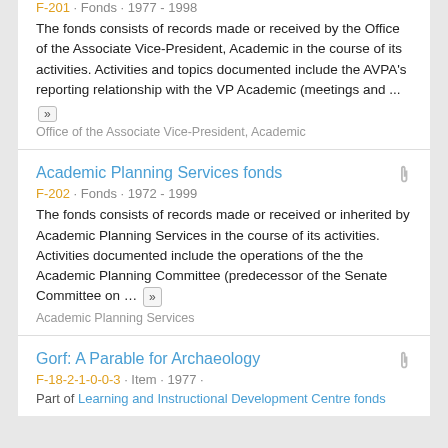F-201 · Fonds · 1977 - 1998
The fonds consists of records made or received by the Office of the Associate Vice-President, Academic in the course of its activities. Activities and topics documented include the AVPA's reporting relationship with the VP Academic (meetings and ...
Office of the Associate Vice-President, Academic
Academic Planning Services fonds
F-202 · Fonds · 1972 - 1999
The fonds consists of records made or received or inherited by Academic Planning Services in the course of its activities. Activities documented include the operations of the the Academic Planning Committee (predecessor of the Senate Committee on ...
Academic Planning Services
Gorf: A Parable for Archaeology
F-18-2-1-0-0-3 · Item · 1977 ·
Part of Learning and Instructional Development Centre fonds